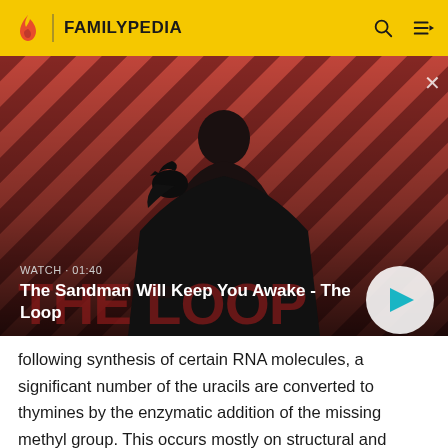FAMILYPEDIA
[Figure (screenshot): Video thumbnail for 'The Sandman Will Keep You Awake - The Loop' showing a dark-cloaked figure with a raven on a red diagonal striped background. Overlaid text reads WATCH · 01:40 and video title. A play button is shown bottom right.]
following synthesis of certain RNA molecules, a significant number of the uracils are converted to thymines by the enzymatic addition of the missing methyl group. This occurs mostly on structural and enzymatic RNAs like transfer RNAs and ribosomal RNA.[10]